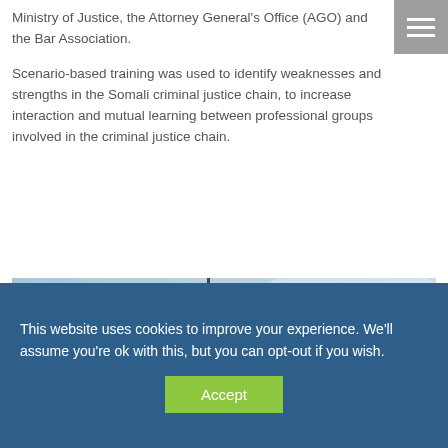Ministry of Justice, the Attorney General's Office (AGO) and the Bar Association.
Scenario-based training was used to identify weaknesses and strengths in the Somali criminal justice chain, to increase interaction and mutual learning between professional groups involved in the criminal justice chain.
[Figure (photo): A silhouette of a soldier or officer with a helmet, standing next to a flagpole with an Italian flag (green, white, and red), against a pale blue sky background. A camera or surveillance device is visible.]
This website uses cookies to improve your experience. We'll assume you're ok with this, but you can opt-out if you wish.